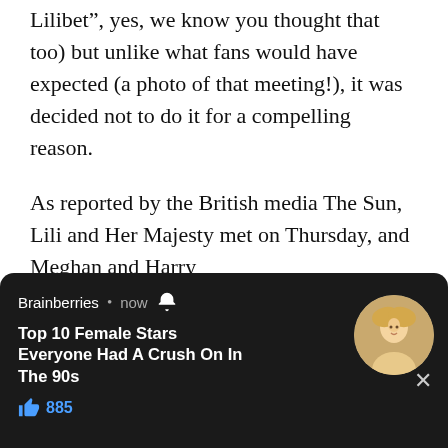Lilibet”, yes, we know you thought that too) but unlike what fans would have expected (a photo of that meeting!), it was decided not to do it for a compelling reason.
As reported by the British media The Sun, Lili and Her Majesty met on Thursday, and Meghan and Harry
We use cookies on our website to give you the most relevant experience by remembering your preferences and repeat visits. By clicking “Accept All” Ho... pr...
[Figure (screenshot): Brainberries notification popup with text 'Top 10 Female Stars Everyone Had A Crush On In The 90s' and 885 likes, featuring a photo of a blonde woman]